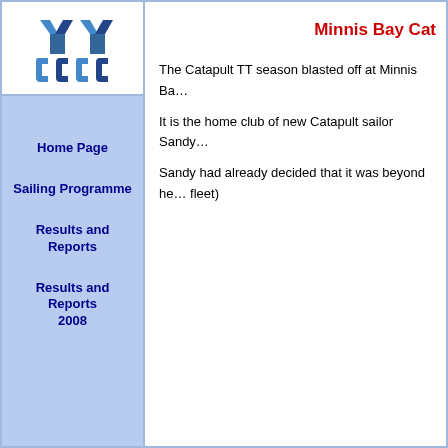[Figure (logo): Stylized blue sailing/yacht club logo with Y-shape and C-shape marks]
Home Page
Sailing Programme
Results and Reports
Results and Reports 2008
Minnis Bay Cat
The Catapult TT season blasted off at Minnis Ba...
It is the home club of new Catapult sailor Sandy...
Sandy had already decided that it was beyond he... fleet)